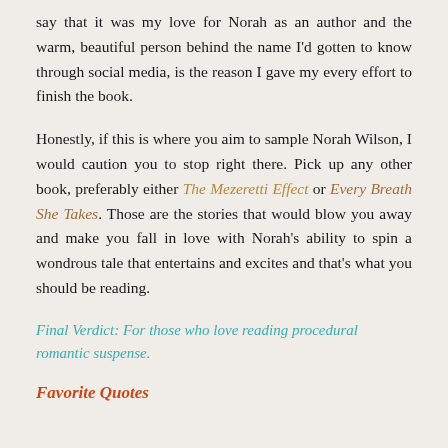say that it was my love for Norah as an author and the warm, beautiful person behind the name I'd gotten to know through social media, is the reason I gave my every effort to finish the book.
Honestly, if this is where you aim to sample Norah Wilson, I would caution you to stop right there. Pick up any other book, preferably either The Mezeretti Effect or Every Breath She Takes. Those are the stories that would blow you away and make you fall in love with Norah's ability to spin a wondrous tale that entertains and excites and that's what you should be reading.
Final Verdict: For those who love reading procedural romantic suspense.
Favorite Quotes